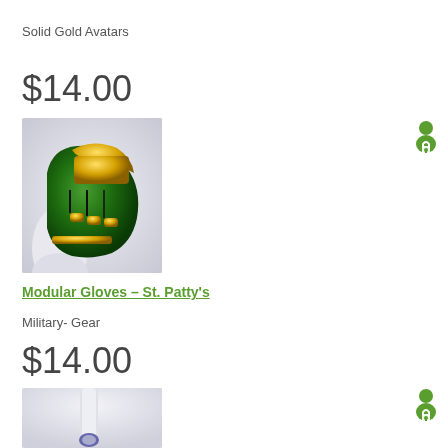Solid Gold Avatars
$14.00
[Figure (photo): 3D rendered avatar hand wearing a green and gold modular glove on a white background]
Modular Gloves - St. Patty's
Military- Gear
$14.00
[Figure (photo): Partial view of a 3D avatar lower body/legs in white with small detail at bottom, cropped]
[Figure (illustration): Green person/avatar lock icon on the right side, top position]
[Figure (illustration): Green person/avatar lock icon on the right side, bottom position]